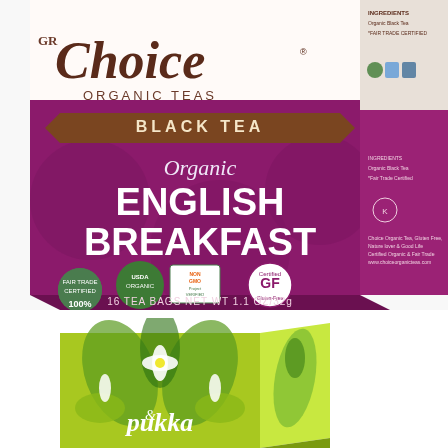[Figure (photo): Choice Organic Teas box of Organic English Breakfast Black Tea. White top with 'Choice' in large script letters and 'ORGANIC TEAS' underneath. Magenta/purple lower portion with a brown banner reading 'BLACK TEA', then 'Organic' in script, 'ENGLISH BREAKFAST' in large white bold text. Bottom shows certification logos: Fair Trade 100%, USDA Organic, Non-GMO Project Verified, Certified GF Gluten-Free. '16 TEA BAGS NET WT 1.1 OZ/32g' printed at bottom. Right side panel shows ingredients and certifications.]
[Figure (photo): Pukka tea box shown from an angle. Bright green/yellow-green box with decorative green leaf and floral pattern. 'pukka' brand name visible in white script at the bottom of the box.]